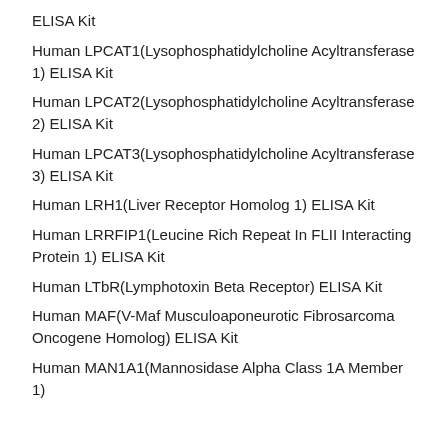ELISA Kit
Human LPCAT1(Lysophosphatidylcholine Acyltransferase 1) ELISA Kit
Human LPCAT2(Lysophosphatidylcholine Acyltransferase 2) ELISA Kit
Human LPCAT3(Lysophosphatidylcholine Acyltransferase 3) ELISA Kit
Human LRH1(Liver Receptor Homolog 1) ELISA Kit
Human LRRFIP1(Leucine Rich Repeat In FLII Interacting Protein 1) ELISA Kit
Human LTbR(Lymphotoxin Beta Receptor) ELISA Kit
Human MAF(V-Maf Musculoaponeurotic Fibrosarcoma Oncogene Homolog) ELISA Kit
Human MAN1A1(Mannosidase Alpha Class 1A Member 1)